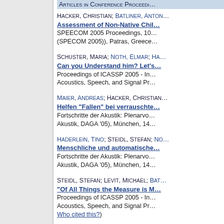Articles in Conference Proceedings
Hacker, Christian; Batliner, Anton; ... Assessment of Non-Native Children's ... SPEECOM 2005 Proceedings, 10... (SPECOM 2005)), Patras, Greece
Schuster, Maria; Noth, Elmar; Ha... Can you Understand him? Let's... Proceedings of ICASSP 2005 - In... Acoustics, Speech, and Signal Pr...
Maier, Andreas; Hacker, Christian... Helfen "Fallen" bei verrauschte... Fortschritte der Akustik: Plenarvo... Akustik, DAGA '05), München, 14
Haderlein, Tino; Steidl, Stefan; N... Menschliche und automatische... Fortschritte der Akustik: Plenarvo... Akustik, DAGA '05), München, 14
Steidl, Stefan; Levit, Michael; Bat... "Of All Things the Measure is M... Proceedings of ICASSP 2005 - In... Acoustics, Speech, and Signal Pr... Who cited this?)
Batliner, Anton; Steidl, Stefan; H... Private Emotions vs. Social Inte...